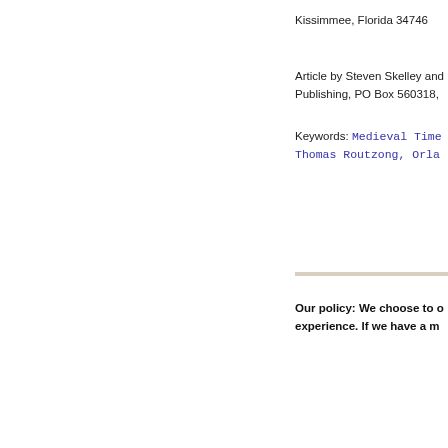Kissimmee, Florida 34746
Article by Steven Skelley and Publishing, PO Box 560318,
Keywords: Medieval Time Thomas Routzong, Orla
Our policy: We choose to o experience. If we have a m